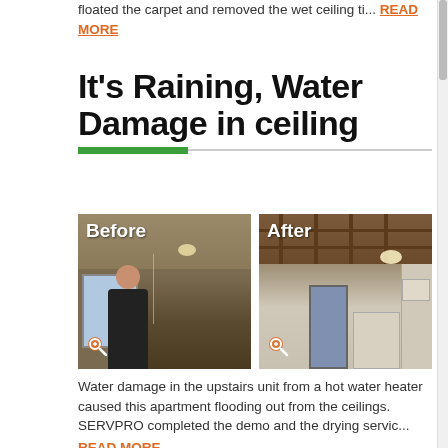floated the carpet and removed the wet ceiling ti... READ MORE
It's Raining, Water Damage in ceiling
[Figure (photo): Before and After photos of water damage in ceiling. Before: room interior with water damage on ceiling, person standing. After: ceiling removed showing wooden joists and framing after remediation.]
Water damage in the upstairs unit from a hot water heater caused this apartment flooding out from the ceilings. SERVPRO completed the demo and the drying servic... READ MORE